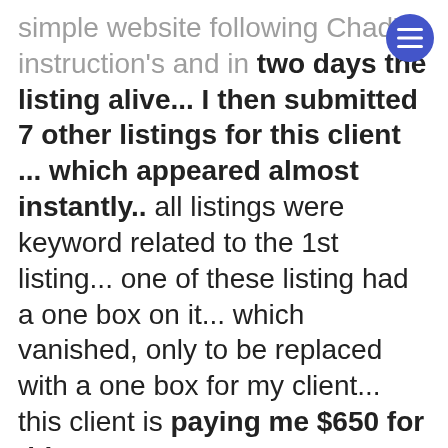simple website following Chad's instruction's and in two days the listing alive... I then submitted 7 other listings for this client ... which appeared almost instantly.. all listings were keyword related to the 1st listing... one of these listing had a one box on it... which vanished, only to be replaced with a one box for my client... this client is paying me $650 for this... Yes! I'm lazy and I don't like doing a lot of computer work... I used just one technique learned from Chad Kimball's Google Maps Cash Course... which works like Gang buster's... and ignored all the other stuff Chad said to do... and it works very, very